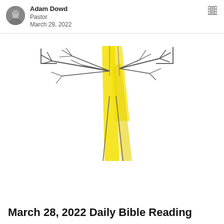Adam Dowd
Pastor
March 29, 2022
[Figure (illustration): A hand-drawn sketch of a figure (possibly representing Jesus or a cross-like form) with yellow highlighted robe/garment, arms outstretched with branch-like extensions on each side, drawn in a simple line-art style with yellow coloring.]
March 28, 2022 Daily Bible Reading